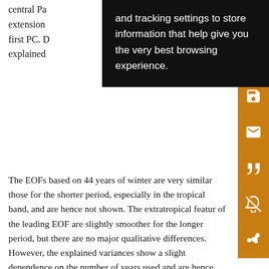central Pa extension to the first PC. D explained
and tracking settings to store information that help give you the very best browsing experience.
The EOFs based on 44 years of winter are very similar those for the shorter period, especially in the tropical band, and are hence not shown. The extratropical features of the leading EOF are slightly smoother for the longer period, but there are no major qualitative differences. However, the explained variances show a slight dependence on the number of years used and are hence given for the shorter and extended period separately (Table 2). The values show that LOWRES and HIGHRES consistently overestimate the variance of the first PC, and that both STOCH and PHYS reduce the explained variance to the observed value.